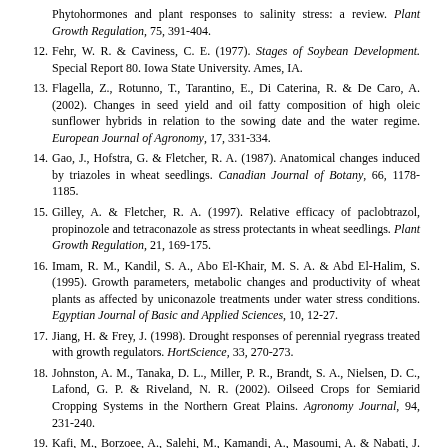11. [partial] Phytohormones and plant responses to salinity stress: a review. Plant Growth Regulation, 75, 391-404.
12. Fehr, W. R. & Caviness, C. E. (1977). Stages of Soybean Development. Special Report 80. Iowa State University. Ames, IA.
13. Flagella, Z., Rotunno, T., Tarantino, E., Di Caterina, R. & De Caro, A. (2002). Changes in seed yield and oil fatty composition of high oleic sunflower hybrids in relation to the sowing date and the water regime. European Journal of Agronomy, 17, 331-334.
14. Gao, J., Hofstra, G. & Fletcher, R. A. (1987). Anatomical changes induced by triazoles in wheat seedlings. Canadian Journal of Botany, 66, 1178-1185.
15. Gilley, A. & Fletcher, R. A. (1997). Relative efficacy of paclobtrazol, propinozole and tetraconazole as stress protectants in wheat seedlings. Plant Growth Regulation, 21, 169-175.
16. Imam, R. M., Kandil, S. A., Abo El-Khair, M. S. A. & Abd El-Halim, S. (1995). Growth parameters, metabolic changes and productivity of wheat plants as affected by uniconazole treatments under water stress conditions. Egyptian Journal of Basic and Applied Sciences, 10, 12-27.
17. Jiang, H. & Frey, J. (1998). Drought responses of perennial ryegrass treated with growth regulators. HortScience, 33, 270-273.
18. Johnston, A. M., Tanaka, D. L., Miller, P. R., Brandt, S. A., Nielsen, D. C., Lafond, G. P. & Riveland, N. R. (2002). Oilseed Crops for Semiarid Cropping Systems in the Northern Great Plains. Agronomy Journal, 94, 231-240.
19. Kafi, M., Borzoee, A., Salehi, M., Kamandi, A., Masoumi, A. & Nabati, J. (2009). Physiology of environmental stresses in plants. Mashhad, Jehad Danshgahi Press. 502 pp. (in Farsi)
20. Khajehpour, M. (2005). Industrial crop production. Isfahan...